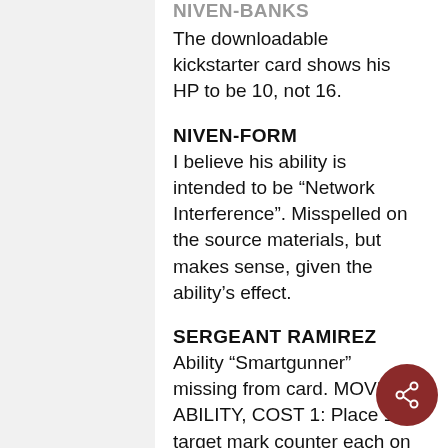NIVEN-BANKS
The downloadable kickstarter card shows his HP to be 10, not 16.
NIVEN-FORM
I believe his ability is intended to be “Network Interference”. Misspelled on the source materials, but makes sense, given the ability’s effect.
SERGEANT RAMIREZ
Ability “Smartgunner” missing from card. MOVE ABILITY, COST 1: Place 1 target mark counter each on up to 3 enemy models in vector Morbid Grip: Bold “Biogenic Claw” for consistency.
HEXEN PHAEDRUS